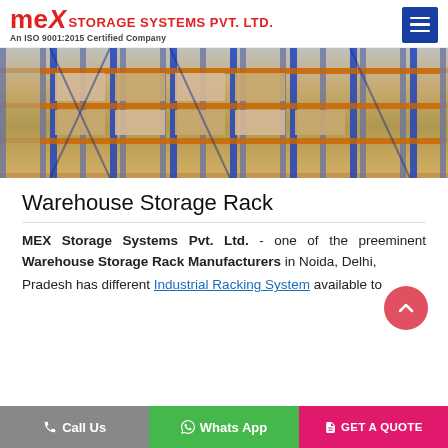MEX STORAGE SYSTEMS PVT. LTD. An ISO 9001:2015 Certified Company
[Figure (photo): Warehouse interior showing industrial storage racks filled with boxes and goods, blue vertical metal uprights with orange horizontal beams]
Warehouse Storage Rack
MEX Storage Systems Pvt. Ltd. - one of the preeminent Warehouse Storage Rack Manufacturers in Noida, Delhi, Pradesh has different Industrial Racking System available to
Call Us  Whats App  GET A QUOTE